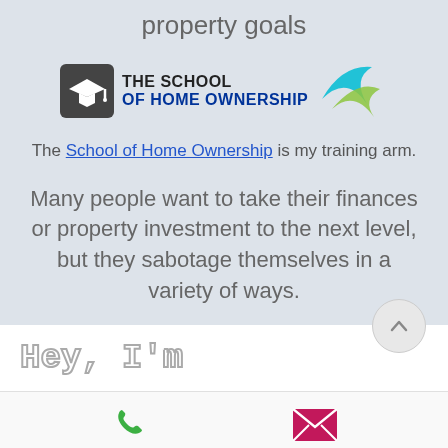property goals
[Figure (logo): The School of Home Ownership logo with graduation cap icon and teal/green swoosh]
The School of Home Ownership is my training arm.
Many people want to take their finances or property investment to the next level, but they sabotage themselves in a variety of ways.
Hey, I'm
[Figure (infographic): Phone icon (green) and email envelope icon (pink/magenta) at the bottom bar]